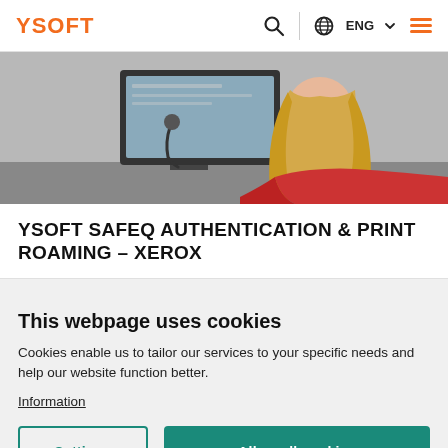YSOFT | ENG | Search | Menu
[Figure (photo): Woman with long blonde hair viewed from behind, sitting at a desk with a computer monitor in an office setting.]
YSOFT SAFEQ AUTHENTICATION & PRINT ROAMING - XEROX
This webpage uses cookies
Cookies enable us to tailor our services to your specific needs and help our website function better.
Information